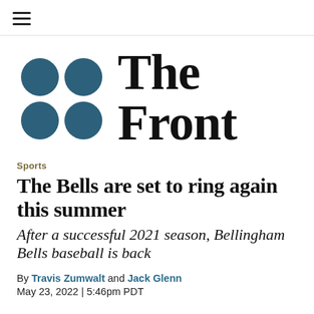≡
[Figure (logo): The Front logo: four teal/dark-blue circles arranged in a 2x2 grid to the left, and the text 'The Front' in large bold serif font to the right]
Sports
The Bells are set to ring again this summer
After a successful 2021 season, Bellingham Bells baseball is back
By Travis Zumwalt and Jack Glenn
May 23, 2022 | 5:46pm PDT